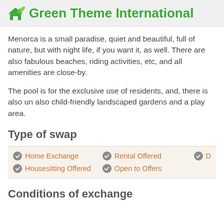Green Theme International
Menorca is a small paradise, quiet and beautiful, full of nature, but with night life, if you want it, as well. There are also fabulous beaches, riding activities, etc, and all amenities are close-by.
The pool is for the exclusive use of residents, and, there is also also child-friendly landscaped gardens and a play area.
Type of swap
Home Exchange
Rental Offered
Housesitting Offered
Open to Offers
Conditions of exchange